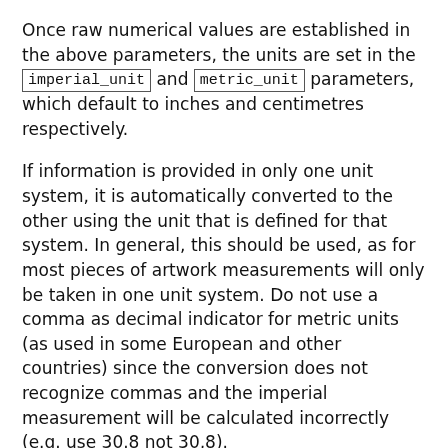Once raw numerical values are established in the above parameters, the units are set in the imperial_unit and metric_unit parameters, which default to inches and centimetres respectively.
If information is provided in only one unit system, it is automatically converted to the other using the unit that is defined for that system. In general, this should be used, as for most pieces of artwork measurements will only be taken in one unit system. Do not use a comma as decimal indicator for metric units (as used in some European and other countries) since the conversion does not recognize commas and the imperial measurement will be calculated incorrectly (e.g. use 30.8 not 30,8).
Users should take care to avoid false precision: measurements should be provided in the same unit, and with the same number of significant digits, as when they